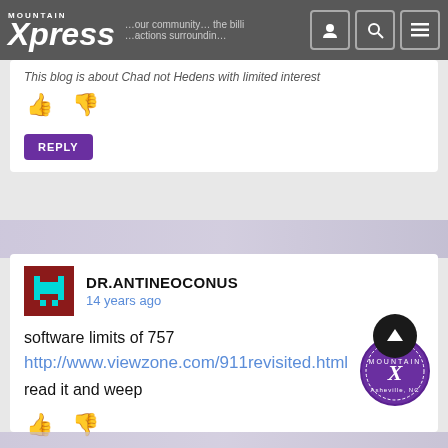Mountain Xpress
This blog is about Chad not Hedens with limited interest
[Figure (screenshot): Thumbs up and thumbs down vote icons in purple]
REPLY
[Figure (illustration): Pixel art space invader avatar on dark red background]
DR.ANTINEOCONUS
14 years ago
software limits of 757
http://www.viewzone.com/911revisited.html
read it and weep
[Figure (screenshot): Thumbs up and thumbs down vote icons in purple]
REPLY
[Figure (logo): Mountain Xpress circular stamp logo with X in center]